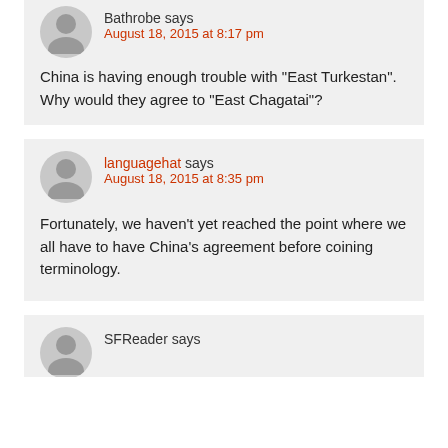Bathrobe says August 18, 2015 at 8:17 pm
China is having enough trouble with “East Turkestan”. Why would they agree to “East Chagatai”?
languagehat says August 18, 2015 at 8:35 pm
Fortunately, we haven't yet reached the point where we all have to have China's agreement before coining terminology.
SFReader says